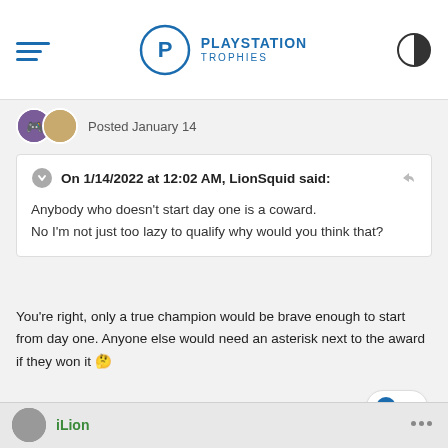PLAYSTATION TROPHIES
Posted January 14
On 1/14/2022 at 12:02 AM, LionSquid said:
Anybody who doesn't start day one is a coward.
No I'm not just too lazy to qualify why would you think that?
You're right, only a true champion would be brave enough to start from day one. Anyone else would need an asterisk next to the award if they won it 🤔
iLion